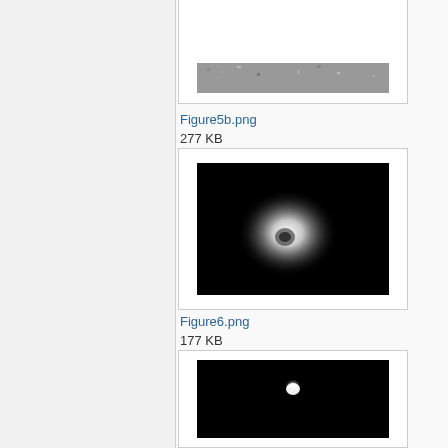[Figure (photo): Top of page: partial view of a microscopy image (grayscale texture), cropped at top. White-framed thumbnail box.]
Figure5b.png
277 KB
[Figure (photo): Fluorescence microscopy image showing a bright white/gray glowing elliptical blob against a black background, suggesting a cell or particle imaged with fluorescence.]
Figure6.png
177 KB
[Figure (photo): Dark field or fluorescence image showing a small bright white spot (comet-like or particle) in the upper-center area against a black background.]